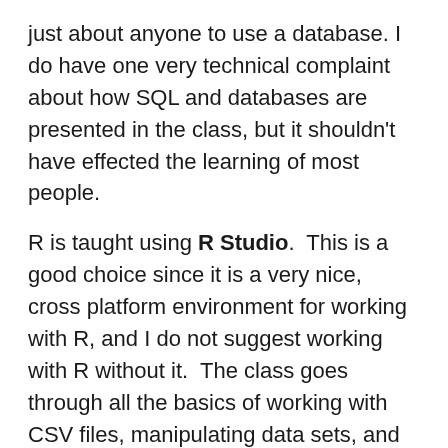just about anyone to use a database. I do have one very technical complaint about how SQL and databases are presented in the class, but it shouldn't have effected the learning of most people.
R is taught using R Studio.  This is a good choice since it is a very nice, cross platform environment for working with R, and I do not suggest working with R without it.  The class goes through all the basics of working with CSV files, manipulating data sets, and creating usable graphs with them.
Sabermetrics
For me, there wasn't anything too unusual for the class.  Rather than talking about specific advanced metrics for players, it stuck with the basic concepts of talking about runs and their relationship to wins.  The